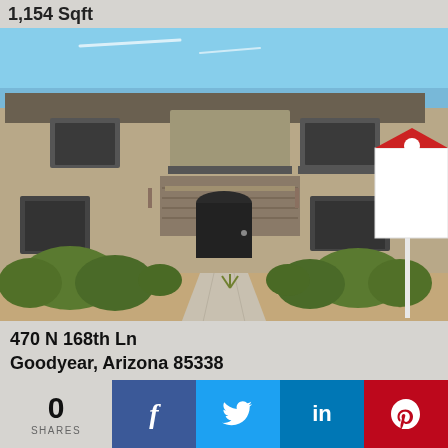1,154 Sqft
[Figure (photo): Exterior photo of a two-story tan/beige stucco townhouse with dark shutters, arched entryway, desert landscaping with gravel and trimmed shrubs, a concrete walkway leading to the front door, and a real estate sign on the right side.]
470 N 168th Ln
Goodyear, Arizona 85338
0
SHARES
[Figure (infographic): Social sharing bar with Facebook (blue), Twitter (light blue), LinkedIn (blue), and Pinterest (red) buttons]